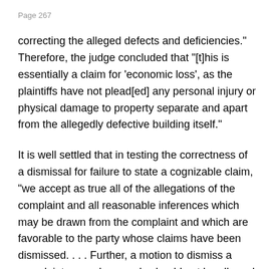Page 267
correcting the alleged defects and deficiencies." Therefore, the judge concluded that "[t]his is essentially a claim for 'economic loss', as the plaintiffs have not plead[ed] any personal injury or physical damage to property separate and apart from the allegedly defective building itself."
It is well settled that in testing the correctness of a dismissal for failure to state a cognizable claim, "we accept as true all of the allegations of the complaint and all reasonable inferences which may be drawn from the complaint and which are favorable to the party whose claims have been dismissed. . . . Further, a motion to dismiss a complaint on such grounds should not be allowed unless it appears certain that the complaining